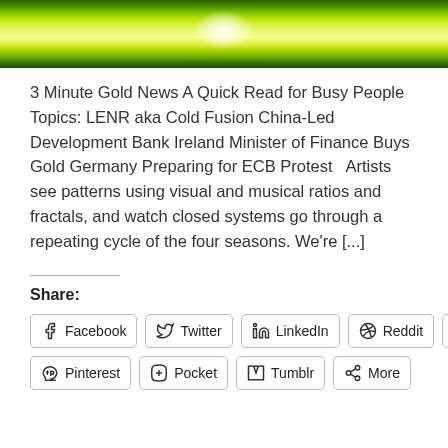[Figure (photo): Green glowing banner image with a bright light spot in the center top area against a dark green background]
3 Minute Gold News A Quick Read for Busy People   Topics: LENR aka Cold Fusion China-Led Development Bank Ireland Minister of Finance Buys Gold Germany Preparing for ECB Protest   Artists see patterns using visual and musical ratios and fractals, and watch closed systems go through a repeating cycle of the four seasons. We're [...]
Share:
Facebook  Twitter  LinkedIn  Reddit  Print  Pinterest  Pocket  Tumblr  More